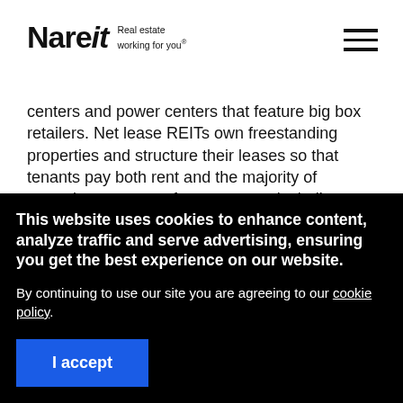Nareit — Real estate working for you.
centers and power centers that feature big box retailers. Net lease REITs own freestanding properties and structure their leases so that tenants pay both rent and the majority of operating expenses for a property, including taxes, utilities and maintenance.
This website uses cookies to enhance content, analyze traffic and serve advertising, ensuring you get the best experience on our website.

By continuing to use our site you are agreeing to our cookie policy.
I accept